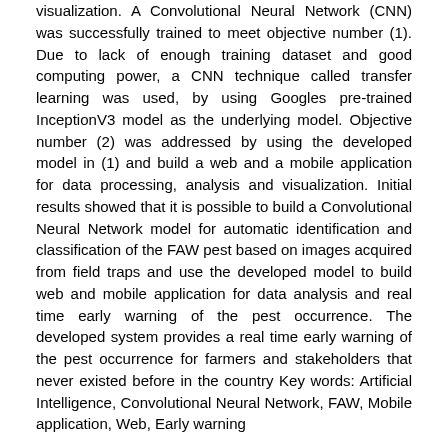visualization. A Convolutional Neural Network (CNN) was successfully trained to meet objective number (1). Due to lack of enough training dataset and good computing power, a CNN technique called transfer learning was used, by using Googles pre-trained InceptionV3 model as the underlying model. Objective number (2) was addressed by using the developed model in (1) and build a web and a mobile application for data processing, analysis and visualization. Initial results showed that it is possible to build a Convolutional Neural Network model for automatic identification and classification of the FAW pest based on images acquired from field traps and use the developed model to build web and mobile application for data analysis and real time early warning of the pest occurrence. The developed system provides a real time early warning of the pest occurrence for farmers and stakeholders that never existed before in the country Key words: Artificial Intelligence, Convolutional Neural Network, FAW, Mobile application, Web, Early warning
URI
http://dspace.unza.zm/handle/123456789/7141
Publisher
The University of Zambia